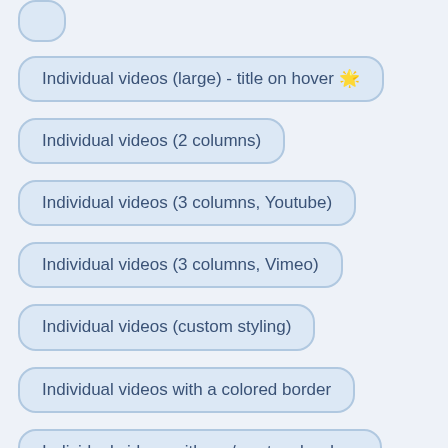Individual videos (large) - title on hover ⭐
Individual videos (2 columns)
Individual videos (3 columns, Youtube)
Individual videos (3 columns, Vimeo)
Individual videos (custom styling)
Individual videos with a colored border
Individual videos with no / custom borders